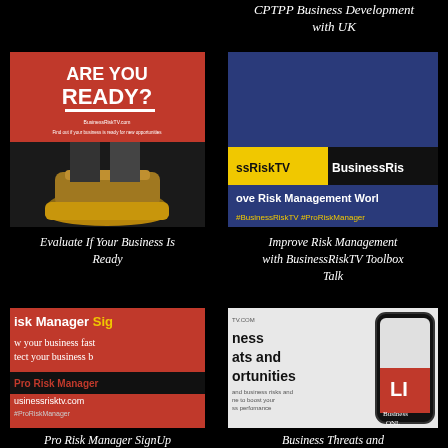CPTPP Business Development with UK
[Figure (photo): Red poster with 'ARE YOU READY?' text in white bold letters, person standing in sneakers]
[Figure (screenshot): BusinessRiskTV branded video thumbnail with blue background, yellow and black banner showing 'improve Risk Management World' and hashtag]
Evaluate If Your Business Is Ready
Improve Risk Management with BusinessRiskTV Toolbox Talk
[Figure (screenshot): Red background Risk Manager SignUp promo with text 'grow your business fast, protect your business b', Pro Risk Manager branding, businessrisktv.com]
[Figure (screenshot): White and red mobile phone mockup showing 'business threats and opportunities' text with LIVE ONLINE branding]
Pro Risk Manager SignUp
Business Threats and